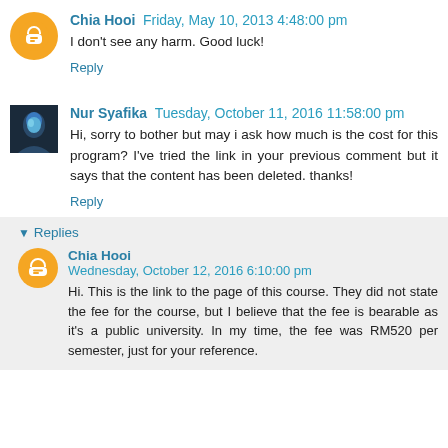Chia Hooi  Friday, May 10, 2013 4:48:00 pm
I don't see any harm. Good luck!
Reply
Nur Syafika  Tuesday, October 11, 2016 11:58:00 pm
Hi, sorry to bother but may i ask how much is the cost for this program? I've tried the link in your previous comment but it says that the content has been deleted. thanks!
Reply
Replies
Chia Hooi  Wednesday, October 12, 2016 6:10:00 pm
Hi. This is the link to the page of this course. They did not state the fee for the course, but I believe that the fee is bearable as it's a public university. In my time, the fee was RM520 per semester, just for your reference.